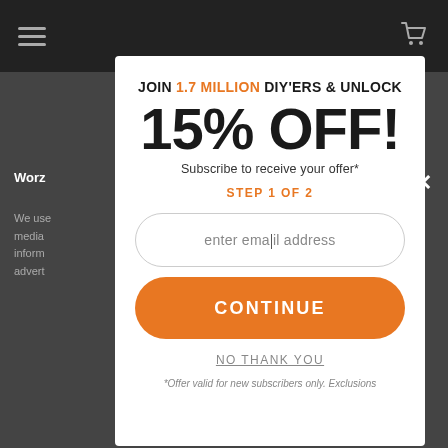Navigation bar with hamburger menu and cart icon
Worz... We use... media... inform... advert...
JOIN 1.7 MILLION DIY'ERS & UNLOCK 15% OFF!
Subscribe to receive your offer*
STEP 1 OF 2
enter email address
CONTINUE
NO THANK YOU
*Offer valid for new subscribers only. Exclusions